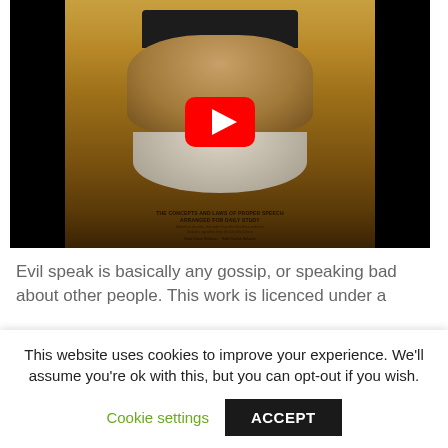[Figure (screenshot): YouTube video thumbnail showing an elderly bearded rabbi on a book cover with a red YouTube play button overlay. The book cover text reads: THE CONCEPTS AND LAWS OF PROPER SPEECH ARRANGED FOR DAILY STUDY. Includes vignettes from the Chofetz Chaim. Rabbi Shimon Finkelman / Rabbi Yitzchak Berkowitz.]
Evil speak is basically any gossip, or speaking bad about other people. This work is licenced under a
This website uses cookies to improve your experience. We'll assume you're ok with this, but you can opt-out if you wish.
Cookie settings
ACCEPT